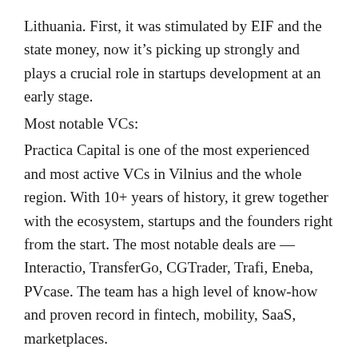Lithuania. First, it was stimulated by EIF and the state money, now it's picking up strongly and plays a crucial role in startups development at an early stage.
Most notable VCs:
Practica Capital is one of the most experienced and most active VCs in Vilnius and the whole region. With 10+ years of history, it grew together with the ecosystem, startups and the founders right from the start. The most notable deals are — Interactio, TransferGo, CGTrader, Trafi, Eneba, PVcase. The team has a high level of know-how and proven record in fintech, mobility, SaaS, marketplaces.
Open Circle Capital and Iron Wolf Capital are first-time funds, both active and doing a good job.
Contrarian Ventures is a small but active “green” tech-focused VC making a noticeable mark in the development of the